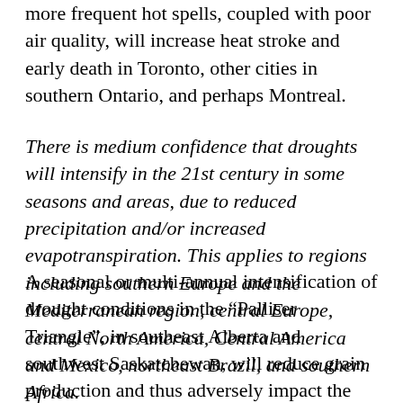more frequent hot spells, coupled with poor air quality, will increase heat stroke and early death in Toronto, other cities in southern Ontario, and perhaps Montreal.
There is medium confidence that droughts will intensify in the 21st century in some seasons and areas, due to reduced precipitation and/or increased evapotranspiration. This applies to regions including southern Europe and the Mediterranean region, central Europe, central North America, Central America and Mexico, northeast Brazil, and southern Africa.
A seasonal or multi-annual intensification of drought conditions in the “Palliser Triangle”, in southeast Alberta and southwest Saskatchewan, will reduce grain production and thus adversely impact the Canadian economy. This drought-prone semiarid region is the “bread basket” of Canada